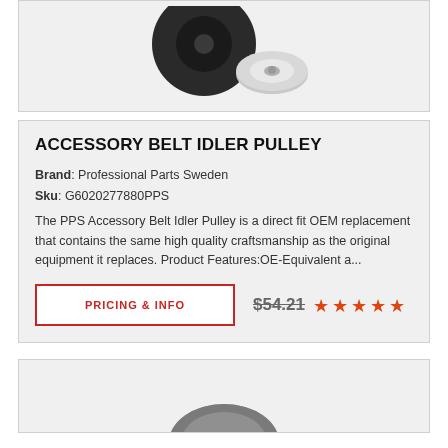[Figure (photo): Top portion of product image showing a black accessory belt idler pulley with a silver metal washer/bracket piece beside it, against a light gray background.]
ACCESSORY BELT IDLER PULLEY
Brand: Professional Parts Sweden
Sku: G6020277880PPS
The PPS Accessory Belt Idler Pulley is a direct fit OEM replacement that contains the same high quality craftsmanship as the original equipment it replaces. Product Features:OE-Equivalent a...
PRICING & INFO
$54.21
[Figure (photo): Bottom portion of a second product card showing the top portion of another belt pulley product image.]